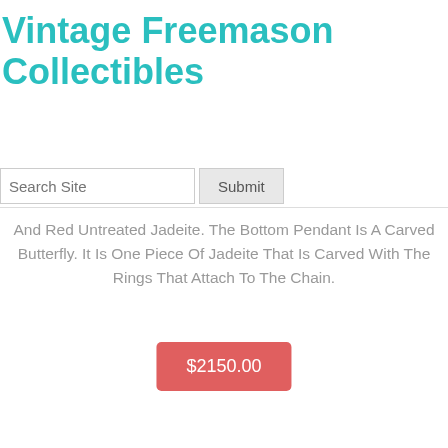Vintage Freemason Collectibles
And Red Untreated Jadeite. The Bottom Pendant Is A Carved Butterfly. It Is One Piece Of Jadeite That Is Carved With The Rings That Attach To The Chain.
$2150.00